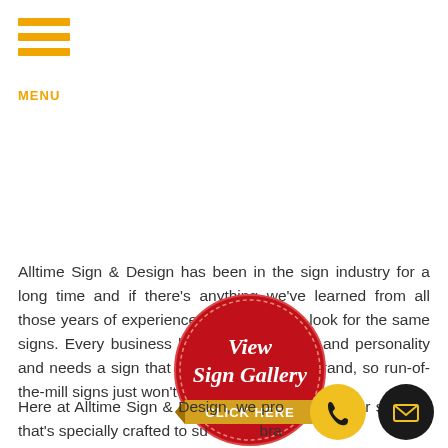[Figure (logo): Three horizontal golden/yellow bars stacked, forming a hamburger menu icon with the label MENU below]
Alltime Sign & Design has been in the sign industry for a long time and if there's anything we've learned from all those years of experience, it's that clients look for the same signs. Every business has a unique brand and personality and needs a sign that clearly reflects that brand, so run-of-the-mill signs just won't do.
[Figure (illustration): Red circular badge/seal with white italic text 'View Sign Gallery' and a gold banner ribbon below reading 'CLICK HERE']
Here at Alltime Sign & Design, we provide banner signage that's specially crafted to suit your brand.
[Figure (illustration): Yellow circle phone icon button]
[Figure (illustration): Black circle email/envelope icon button]